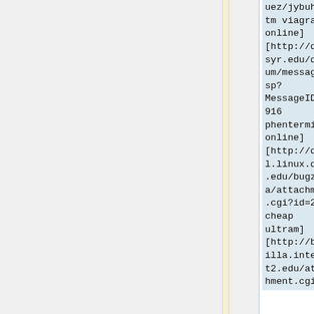uez/jybuhi.htm viagra online] [http://dcc.syr.edu/dforum/message.asp?MessageID=48916 phentermine online] [http://devel.linux.duke.edu/bugzilla/attachment.cgi?id=256 cheap ultram] [http://bugzilla.internet2.edu/attachment.cgi?